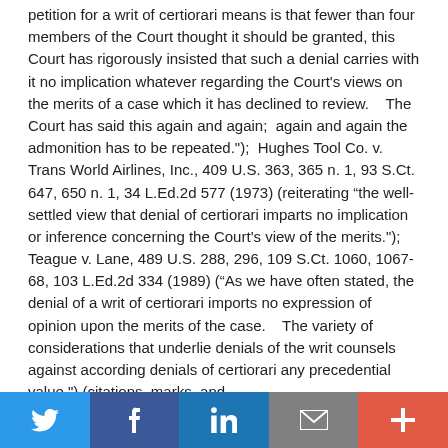petition for a writ of certiorari means is that fewer than four members of the Court thought it should be granted, this Court has rigorously insisted that such a denial carries with it no implication whatever regarding the Court's views on the merits of a case which it has declined to review.    The Court has said this again and again;  again and again the admonition has to be repeated.");  Hughes Tool Co. v. Trans World Airlines, Inc., 409 U.S. 363, 365 n. 1, 93 S.Ct. 647, 650 n. 1, 34 L.Ed.2d 577 (1973) (reiterating "the well-settled view that denial of certiorari imparts no implication or inference concerning the Court's view of the merits.");  Teague v. Lane, 489 U.S. 288, 296, 109 S.Ct. 1060, 1067-68, 103 L.Ed.2d 334 (1989) ("As we have often stated, the denial of a writ of certiorari imports no expression of opinion upon the merits of the case.    The variety of considerations that underlie denials of the writ counsels against according denials of certiorari any precedential value.") (citations, marks, and
Twitter | Facebook | LinkedIn | Email | +